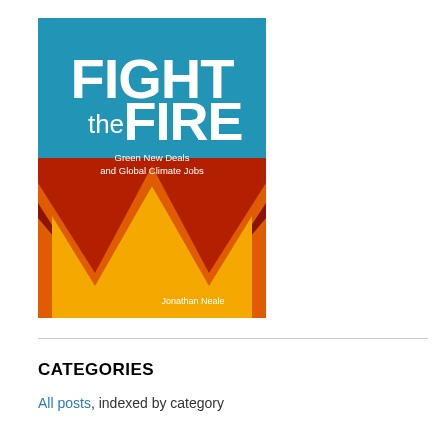[Figure (illustration): Book cover of 'Fight the Fire: Green New Deals and Global Climate Jobs' by Jonathan Neale. Teal/blue background with large white bold text 'FIGHT the FIRE'. Subtitle in smaller white text: 'Green New Deals and Global Climate Jobs'. Bottom half features a zigzag chevron pattern in dark red, orange, and yellow-gold on a red background. Author name 'Jonathan Neale' in white at the bottom right.]
CATEGORIES
All posts, indexed by category